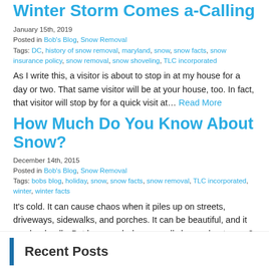Winter Storm Comes a-Calling
January 15th, 2019
Posted in Bob's Blog, Snow Removal
Tags: DC, history of snow removal, maryland, snow, snow facts, snow insurance policy, snow removal, snow shoveling, TLC incorporated
As I write this, a visitor is about to stop in at my house for a day or two. That same visitor will be at your house, too. In fact, that visitor will stop by for a quick visit at... Read More
How Much Do You Know About Snow?
December 14th, 2015
Posted in Bob's Blog, Snow Removal
Tags: bobs blog, holiday, snow, snow facts, snow removal, TLC incorporated, winter, winter facts
It's cold. It can cause chaos when it piles up on streets, driveways, sidewalks, and porches. It can be beautiful, and it can be deadly. But how much do you really know about snow? Here are five fun facts that... Read More
Recent Posts